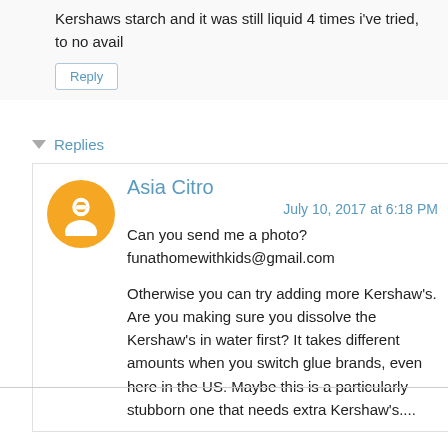Kershaws starch and it was still liquid 4 times i've tried, to no avail
Reply
Replies
Asia Citro
July 10, 2017 at 6:18 PM
Can you send me a photo? funathomewithkids@gmail.com

Otherwise you can try adding more Kershaw's. Are you making sure you dissolve the Kershaw's in water first? It takes different amounts when you switch glue brands, even here in the US. Maybe this is a particularly stubborn one that needs extra Kershaw's....